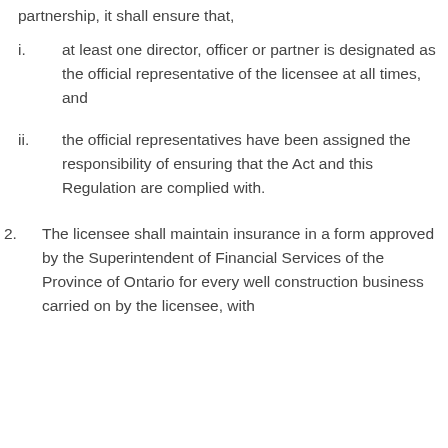partnership, it shall ensure that,
i. at least one director, officer or partner is designated as the official representative of the licensee at all times, and
ii. the official representatives have been assigned the responsibility of ensuring that the Act and this Regulation are complied with.
2. The licensee shall maintain insurance in a form approved by the Superintendent of Financial Services of the Province of Ontario for every well construction business carried on by the licensee, with